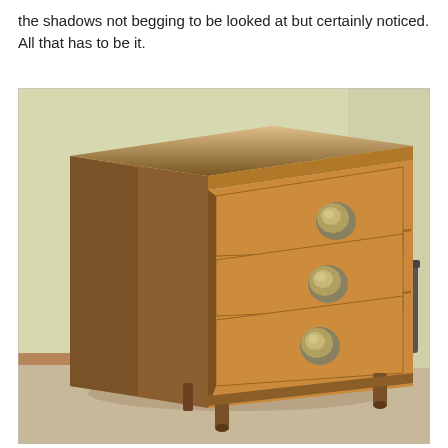the shadows not begging to be looked at but certainly noticed. All that has to be it.
[Figure (photo): A mid-century modern wooden dresser/chest of drawers with three drawers, each featuring a round circular brass/metal pull handle. The dresser is made of warm walnut/teak wood with tapered legs, photographed against a light yellow-green wall in a room with beige carpet. A dark trash can is partially visible in the background on the right.]